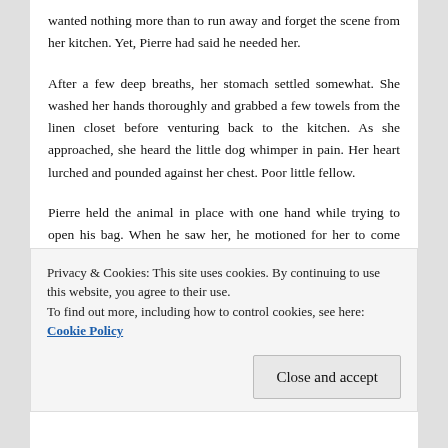wanted nothing more than to run away and forget the scene from her kitchen. Yet, Pierre had said he needed her.
After a few deep breaths, her stomach settled somewhat. She washed her hands thoroughly and grabbed a few towels from the linen closet before venturing back to the kitchen. As she approached, she heard the little dog whimper in pain. Her heart lurched and pounded against her chest. Poor little fellow.
Pierre held the animal in place with one hand while trying to open his bag. When he saw her, he motioned for her to come closer. “Gloves,” he commanded. That done, he
Privacy & Cookies: This site uses cookies. By continuing to use this website, you agree to their use.
To find out more, including how to control cookies, see here: Cookie Policy